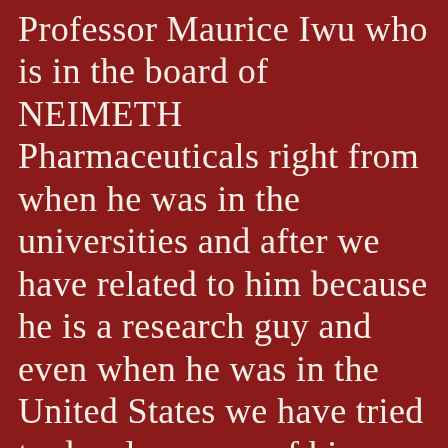Professor Maurice Iwu who is in the board of NEIMETH Pharmaceuticals right from when he was in the universities and after we have related to him because he is a research guy and even when he was in the United States we have tried to develop some of his work to bring them to market. So we are working with him on these other areas and we are asking that the government should show more interest because investment in research is a long term. And what